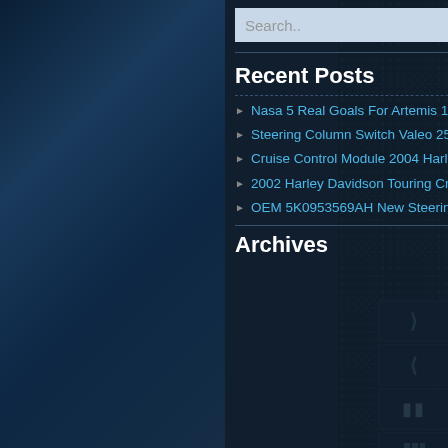[Figure (screenshot): Search bar with text input field showing 'Search..' placeholder and a search icon button on dark background]
Recent Posts
Nasa 5 Real Goals For Artemis 1 And Beyond
Steering Column Switch Valeo 251660 P For Vw Transporter V, Multivan V, Polo
Cruise Control Module 2004 Harley Electra Glide Ultra Classic EFI FLHTCUI 2729A
2002 Harley Davidson Touring Cruise Control Module Unit 70955-98B
OEM 5K0953569AH New Steering Wheel Cruise Control Electric Module For VW Jetta
Archives